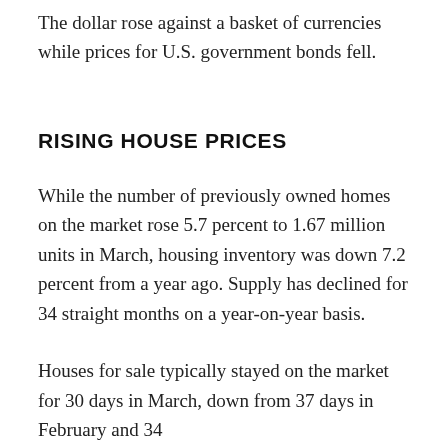The dollar rose against a basket of currencies while prices for U.S. government bonds fell.
RISING HOUSE PRICES
While the number of previously owned homes on the market rose 5.7 percent to 1.67 million units in March, housing inventory was down 7.2 percent from a year ago. Supply has declined for 34 straight months on a year-on-year basis.
Houses for sale typically stayed on the market for 30 days in March, down from 37 days in February and 34